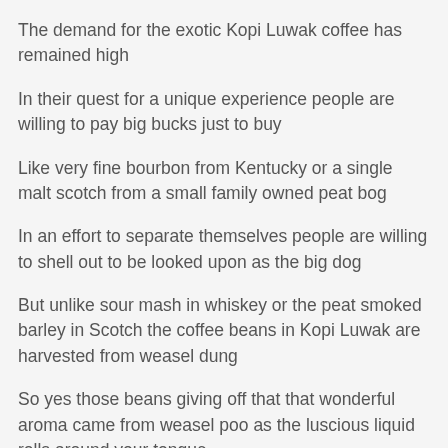The demand for the exotic Kopi Luwak coffee has remained high
In their quest for a unique experience people are willing to pay big bucks just to buy
Like very fine bourbon from Kentucky or a single malt scotch from a small family owned peat bog
In an effort to separate themselves people are willing to shell out to be looked upon as the big dog
But unlike sour mash in whiskey or the peat smoked barley in Scotch the coffee beans in Kopi Luwak are harvested from weasel dung
So yes those beans giving off that that wonderful aroma came from weasel poo as the luscious liquid rolls around your tongue
Though technically not a true weasel the civet is